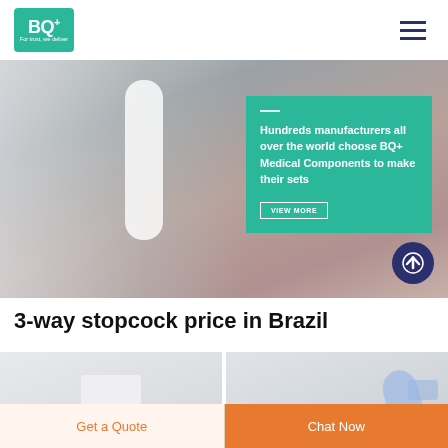BQ+ Medical Components - For trust, we deliver
[Figure (photo): Hero banner showing a medical IV drip chamber/flow regulator in close-up with blurred red background. Overlaid with teal card reading: 'Hundreds manufacturers all over the world choose BQ+ Medical Components to make their sets' with a VIEW MORE button.]
3-way stopcock price in Brazil
[Figure (photo): Two product photos side by side showing 3-way stopcocks on light grey backgrounds]
Get a Quote
Chat Now